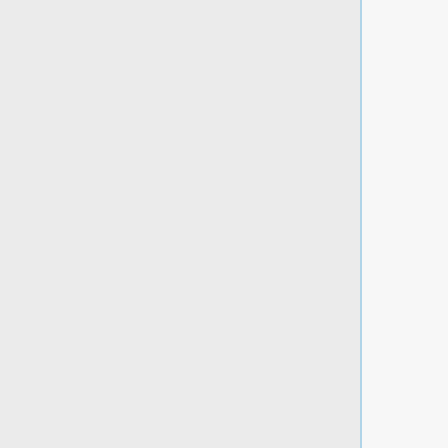li>
<li>csclub.uwaterloo.ca.crt: certificate created by GlobalSign</li>
<li>globalsign-intermediate.crt: intermediate certificate from GlobalSign, obtainable from [https://sup port.globals